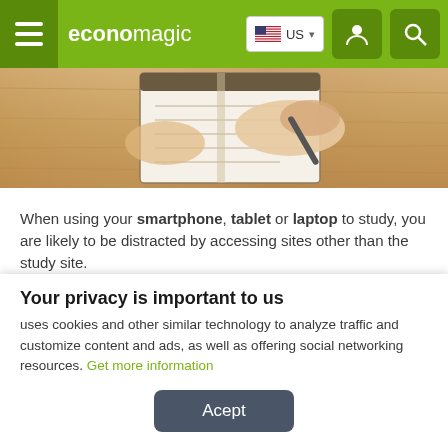economagic — US
[Figure (photo): Overhead view of hands writing in a notebook on a wooden desk]
When using your smartphone, tablet or laptop to study, you are likely to be distracted by accessing sites other than the study site.
Thinking about it, Google created a tool called "Productivity Owl", which blocks the sites that you decide to block in that period, helping
Your privacy is important to us
uses cookies and other similar technology to analyze traffic and customize content and ads, as well as offering social networking resources. Get more information
Acept